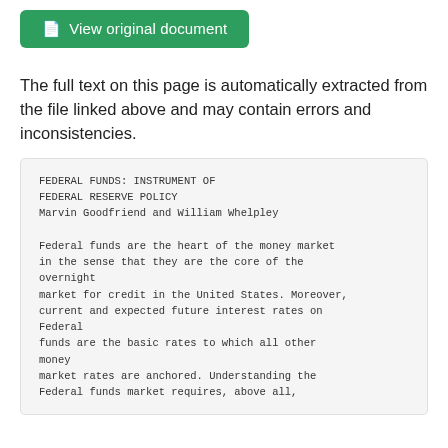[Figure (other): Green button labeled 'View original document' with a document icon]
The full text on this page is automatically extracted from the file linked above and may contain errors and inconsistencies.
FEDERAL FUNDS: INSTRUMENT OF FEDERAL RESERVE POLICY
Marvin Goodfriend and William Whelpley

Federal funds are the heart of the money market in the sense that they are the core of the overnight market for credit in the United States. Moreover, current and expected future interest rates on Federal funds are the basic rates to which all other money market rates are anchored. Understanding the Federal funds market requires, above all,